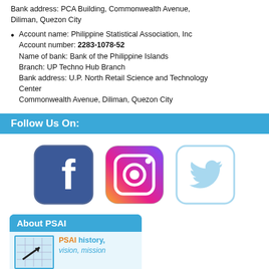Bank address: PCA Building, Commonwealth Avenue, Diliman, Quezon City
Account name: Philippine Statistical Association, Inc
Account number: 2283-1078-52
Name of bank: Bank of the Philippine Islands
Branch: UP Techno Hub Branch
Bank address: U.P. North Retail Science and Technology Center
Commonwealth Avenue, Diliman, Quezon City
Follow Us On:
[Figure (illustration): Facebook, Instagram, and Twitter social media icons displayed in a row]
About PSAI
[Figure (illustration): About PSAI card with an image and text reading 'PSAI history, vision, mission']